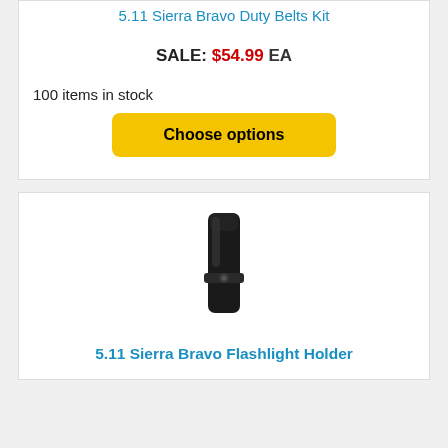5.11 Sierra Bravo Duty Belts Kit
SALE: $54.99 EA
100 items in stock
Choose options
[Figure (photo): Black flashlight holder/pouch product photo]
5.11 Sierra Bravo Flashlight Holder